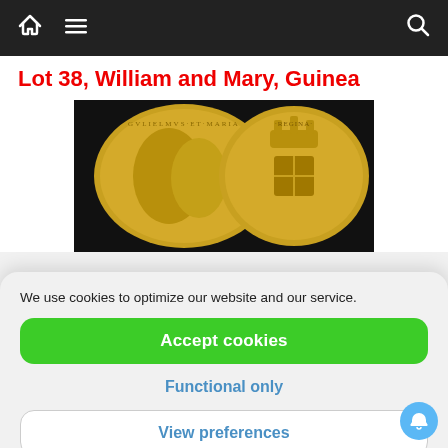Navigation bar with home, menu, and search icons
Lot 38, William and Mary, Guinea
[Figure (photo): Two gold coins showing obverse and reverse of a William and Mary Guinea coin on a black background]
We use cookies to optimize our website and our service.
Accept cookies
Functional only
View preferences